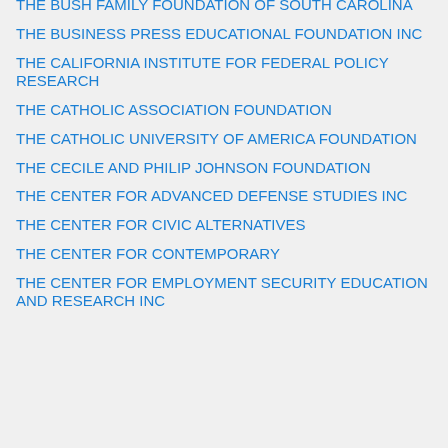THE BUSH FAMILY FOUNDATION OF SOUTH CAROLINA
THE BUSINESS PRESS EDUCATIONAL FOUNDATION INC
THE CALIFORNIA INSTITUTE FOR FEDERAL POLICY RESEARCH
THE CATHOLIC ASSOCIATION FOUNDATION
THE CATHOLIC UNIVERSITY OF AMERICA FOUNDATION
THE CECILE AND PHILIP JOHNSON FOUNDATION
THE CENTER FOR ADVANCED DEFENSE STUDIES INC
THE CENTER FOR CIVIC ALTERNATIVES
THE CENTER FOR CONTEMPORARY
THE CENTER FOR EMPLOYMENT SECURITY EDUCATION AND RESEARCH INC